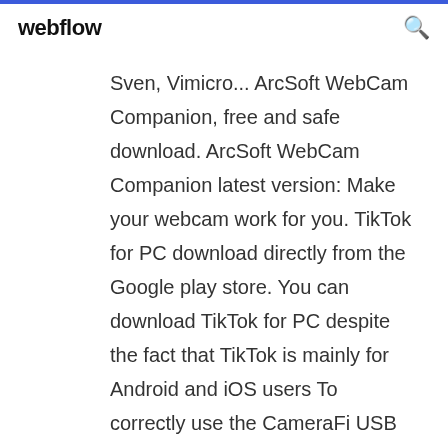webflow
Sven, Vimicro... ArcSoft WebCam Companion, free and safe download. ArcSoft WebCam Companion latest version: Make your webcam work for you. TikTok for PC download directly from the Google play store. You can download TikTok for PC despite the fact that TikTok is mainly for Android and iOS users To correctly use the CameraFi USB Camera / Webcam application, the user only needs to use the smartphone for the task. The user should not need to pair devices, but plugging in allows you to find the device in the application settings. Download Avast Antivirus 2019 for PC on Windows 10/8/7 for free. The latest full version of the World's most popular security